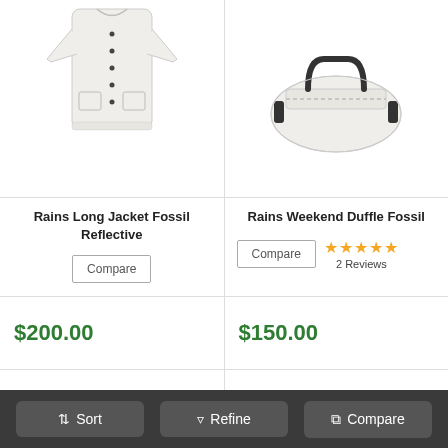[Figure (photo): Rains Long Jacket Fossil Reflective product image - a light cream/white long rain jacket]
[Figure (photo): Rains Weekend Duffle Fossil product image - a cream/white duffle bag with black handles]
Rains Long Jacket Fossil Reflective
Compare
Rains Weekend Duffle Fossil
Compare
★★★★★ 2 Reviews
$200.00
$150.00
Sort
Refine
Compare